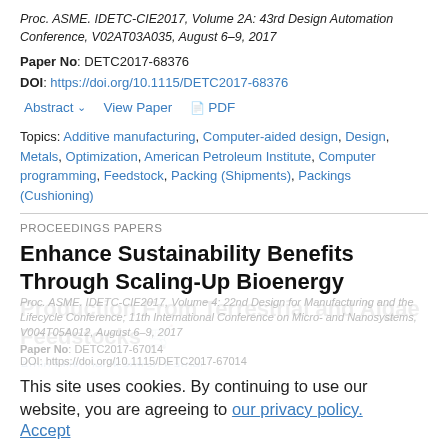Proc. ASME. IDETC-CIE2017, Volume 2A: 43rd Design Automation Conference, V02AT03A035, August 6–9, 2017
Paper No: DETC2017-68376
DOI: https://doi.org/10.1115/DETC2017-68376
Abstract ∨   View Paper   🗎 PDF
Topics: Additive manufacturing, Computer-aided design, Design, Metals, Optimization, American Petroleum Institute, Computer programming, Feedstock, Packing (Shipments), Packings (Cushioning)
PROCEEDINGS PAPERS
Enhance Sustainability Benefits Through Scaling-Up Bioenergy Production From Terrestrial and Algae Feedstocks
Amin Mirkouei, Kamran Kardel
This site uses cookies. By continuing to use our website, you are agreeing to our privacy policy. Accept